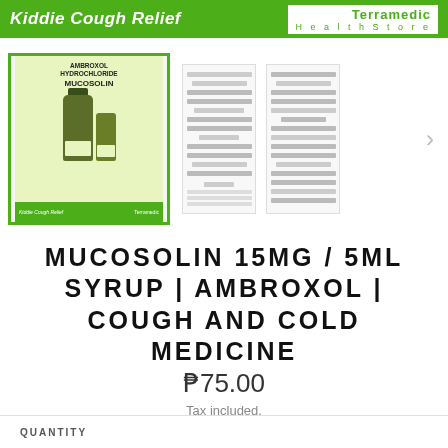Kiddie Cough Relief | Terramedic HealthStore
[Figure (photo): Product images of Mucosolin 15mg/5ml syrup: main selected image with green border showing bottle and box with label AMBROXOL HYDROCHLORIDE MUCOSOLIN, plus two thumbnail images showing product leaflet/insert text]
MUCOSOLIN 15MG / 5ML SYRUP | AMBROXOL | COUGH AND COLD MEDICINE
₱75.00
Tax included.
QUANTITY